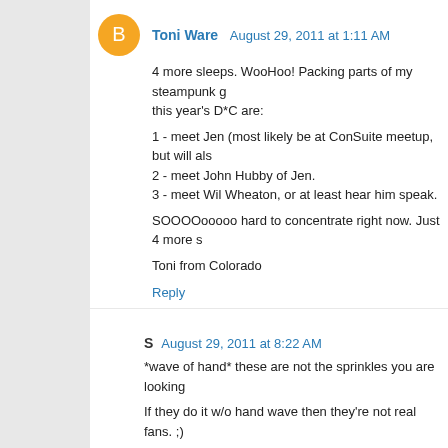Toni Ware August 29, 2011 at 1:11 AM
4 more sleeps. WooHoo! Packing parts of my steampunk g this year's D*C are:
1 - meet Jen (most likely be at ConSuite meetup, but will als
2 - meet John Hubby of Jen.
3 - meet Wil Wheaton, or at least hear him speak.

SOOOOooooo hard to concentrate right now. Just 4 more s

Toni from Colorado
Reply
S August 29, 2011 at 8:22 AM
*wave of hand* these are not the sprinkles you are looking

If they do it w/o hand wave then they're not real fans. ;)
Reply
Jamie Jo August 29, 2011 at 9:44 AM
I'm thinking "Man Part Cakes!" would be a good passw GODDESS" ought to work as well.
Reply